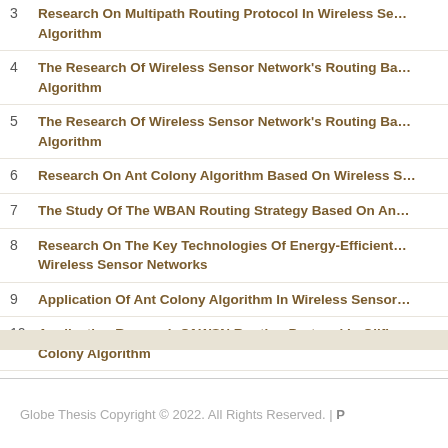3. Research On Multipath Routing Protocol In Wireless Sensor Network Based On Ant Colony Algorithm
4. The Research Of Wireless Sensor Network's Routing Based On Ant Colony Algorithm
5. The Research Of Wireless Sensor Network's Routing Based On Ant Colony Algorithm
6. Research On Ant Colony Algorithm Based On Wireless Sensor Network
7. The Study Of The WBAN Routing Strategy Based On Ant Colony Algorithm
8. Research On The Key Technologies Of Energy-Efficient Routing In Wireless Sensor Networks
9. Application Of Ant Colony Algorithm In Wireless Sensor Network
10. Application Research Of WSN Routing Protocol In Oilfield Based On Ant Colony Algorithm
Globe Thesis Copyright © 2022. All Rights Reserved. | P